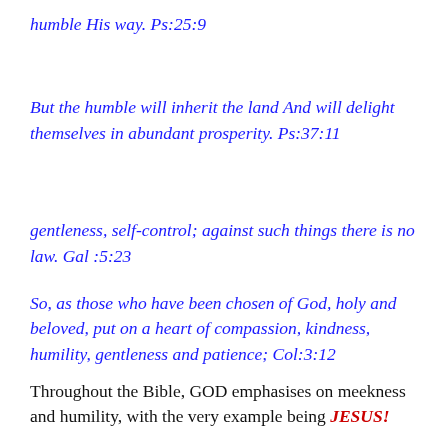humble His way. Ps:25:9
But the humble will inherit the land And will delight themselves in abundant prosperity. Ps:37:11
gentleness, self-control; against such things there is no law. Gal :5:23
So, as those who have been chosen of God, holy and beloved, put on a heart of compassion, kindness, humility, gentleness and patience; Col:3:12
Throughout the Bible, GOD emphasises on meekness and humility, with the very example being JESUS!